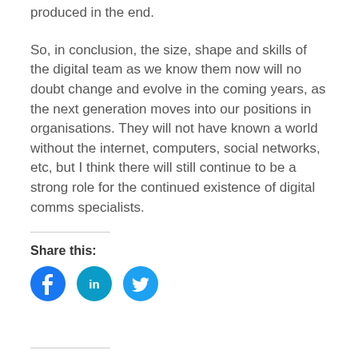produced in the end.
So, in conclusion, the size, shape and skills of the digital team as we know them now will no doubt change and evolve in the coming years, as the next generation moves into our positions in organisations. They will not have known a world without the internet, computers, social networks, etc, but I think there will still continue to be a strong role for the continued existence of digital comms specialists.
Share this:
[Figure (infographic): Three circular social media share buttons: Facebook (blue circle with 'f' icon), LinkedIn (teal circle with 'in' icon), Twitter (cyan circle with bird icon)]